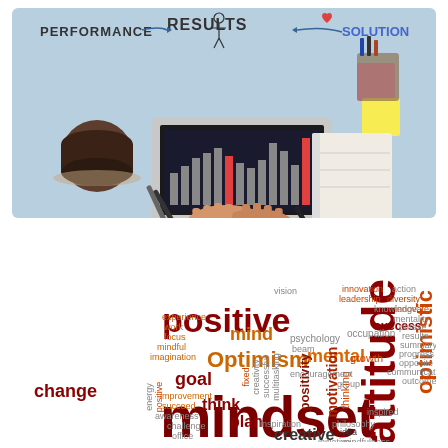[Figure (photo): Top-down photo of a person typing on a laptop on a light blue desk. Text annotations around the image read PERFORMANCE, RESULTS (center, larger), and SOLUTION with arrows pointing to/from the laptop screen. A coffee cup, sticky notes, notebook, pen, and markers are visible on the desk.]
[Figure (infographic): Word cloud / tag cloud image on white background featuring the word 'mindset' in very large dark red text at the bottom right, 'attitude' vertically in large dark red, 'positive' in large bold dark red, 'optimistic' vertically in large orange-red, 'Optimism' in large orange, 'mental' in medium orange, 'goal' in medium dark red, 'positivity' vertically in medium dark red, 'motivation' vertically in medium dark red, 'thinking' vertically in small text, 'change', 'mind', 'think', 'plan', 'creative', 'success', and many other smaller words in orange, red, and dark red colors.]